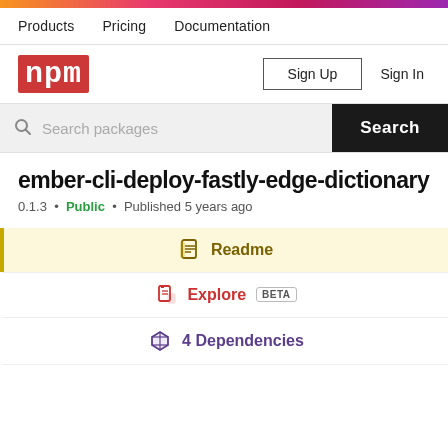Products   Pricing   Documentation
[Figure (logo): npm logo - red background with white 'npm' text in monospace]
Sign Up  Sign In
Search packages  Search
ember-cli-deploy-fastly-edge-dictionary
0.1.3 • Public • Published 5 years ago
Readme
Explore BETA
4 Dependencies